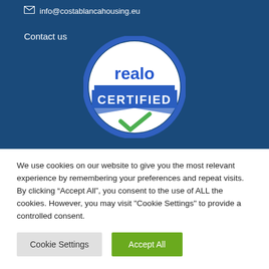info@costablancahousing.eu
Contact us
[Figure (logo): Realo Certified badge: circular badge with blue border, white background, 'realo' in blue text, blue banner with 'CERTIFIED' in white, green checkmark below]
We use cookies on our website to give you the most relevant experience by remembering your preferences and repeat visits. By clicking “Accept All”, you consent to the use of ALL the cookies. However, you may visit "Cookie Settings" to provide a controlled consent.
Cookie Settings
Accept All